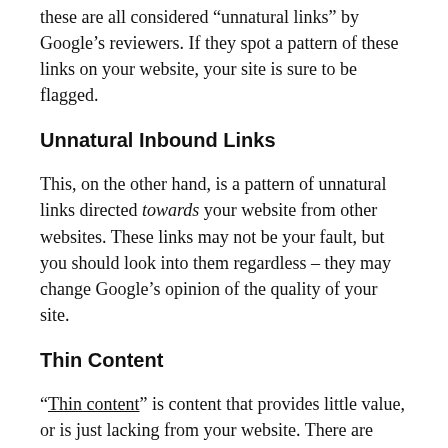these are all considered “unnatural links” by Google’s reviewers. If they spot a pattern of these links on your website, your site is sure to be flagged.
Unnatural Inbound Links
This, on the other hand, is a pattern of unnatural links directed towards your website from other websites. These links may not be your fault, but you should look into them regardless – they may change Google’s opinion of the quality of your site.
Thin Content
“Thin content” is content that provides little value, or is just lacking from your website. There are multiple kinds of thin content that Google might flag:
Automatically Generated Content
If content looks obviously artificial, it’s likely to be marked as